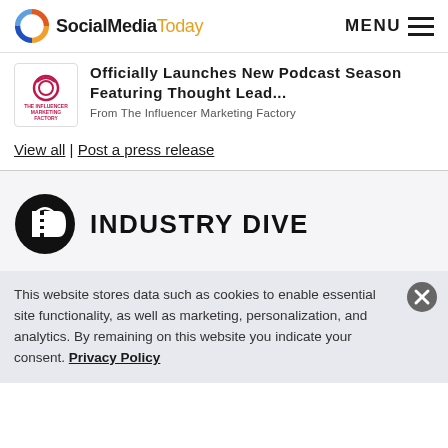SocialMediaToday MENU
Officially Launches New Podcast Season Featuring Thought Lead...
From The Influencer Marketing Factory
View all | Post a press release
[Figure (logo): Industry Dive logo]
This website stores data such as cookies to enable essential site functionality, as well as marketing, personalization, and analytics. By remaining on this website you indicate your consent. Privacy Policy